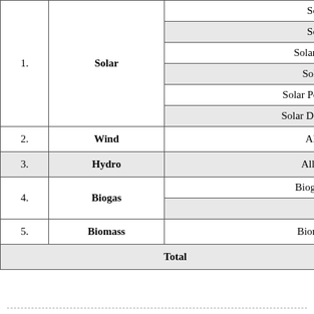| No. | Category | Sub-category |
| --- | --- | --- |
| 1. | Solar | Solar Mi... |
|  |  | Solar Na... |
|  |  | Solar Charg... |
|  |  | Solar Stre... |
|  |  | Solar Powered... |
|  |  | Solar Drinking... |
| 2. | Wind | All Wind... |
| 3. | Hydro | All Hydro... |
| 4. | Biogas | Biogas to E... |
|  |  | Biogas... |
| 5. | Biomass | Biomass to... |
| Total |  |  |